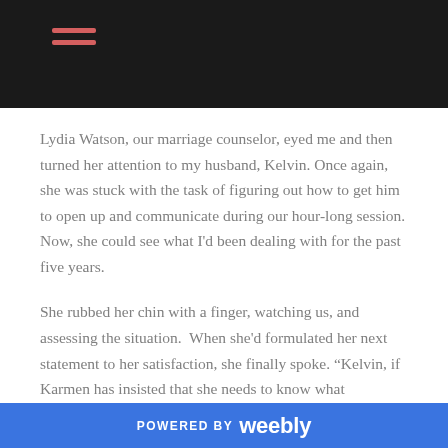Lydia Watson, our marriage counselor, eyed me and then turned her attention to my husband, Kelvin. Once again, she was stuck with the task of figuring out how to get him to open up and communicate during our hour-long session. Now, she could see what I'd been dealing with for the past five years.
She rubbed her chin with a finger, watching us, and assessing the situation. When she'd formulated her next statement to her satisfaction, she finally spoke. “Kelvin, if Karmen has insisted that she needs to know what happened in your affairs in order to move on, why are you resisting telling her?”
I looked over to my right to see him looking down at his lap
POWERED BY weebly